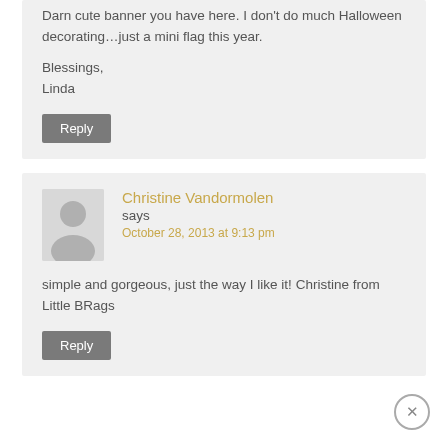Darn cute banner you have here. I don't do much Halloween decorating…just a mini flag this year.

Blessings,
Linda
Reply
Christine Vandormolen says October 28, 2013 at 9:13 pm
simple and gorgeous, just the way I like it! Christine from Little BRags
Reply